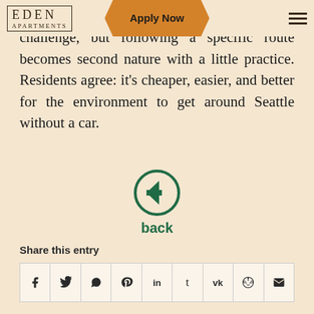EDEN | Apply Now
Traveling between Washington cities can be a challenge, but following a specific route becomes second nature with a little practice. Residents agree: it's cheaper, easier, and better for the environment to get around Seattle without a car.
[Figure (illustration): A circular back navigation button with a left-pointing arrow, colored dark green, with the word 'back' below it in bold green text.]
Share this entry
[Figure (infographic): A row of social media share icons: Facebook, Twitter, WhatsApp, Pinterest, LinkedIn, Tumblr, VK, Reddit, Email]